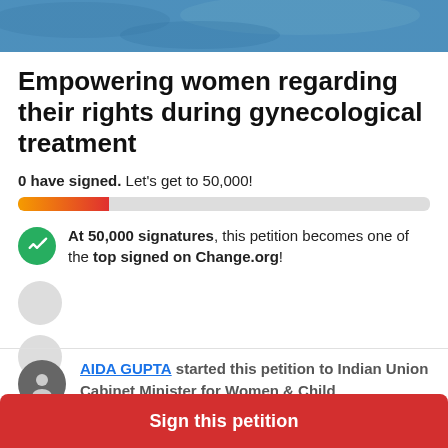[Figure (photo): Decorative hero image with blue tones at the top of the petition page]
Empowering women regarding their rights during gynecological treatment
0 have signed. Let's get to 50,000!
At 50,000 signatures, this petition becomes one of the top signed on Change.org!
AIDA GUPTA started this petition to Indian Union Cabinet Minister for Women & Child
Sign this petition